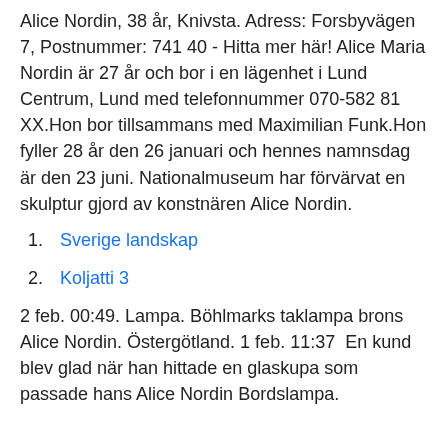Alice Nordin, 38 år, Knivsta. Adress: Forsbyvägen 7, Postnummer: 741 40 - Hitta mer här! Alice Maria Nordin är 27 år och bor i en lägenhet i Lund Centrum, Lund med telefonnummer 070-582 81 XX.Hon bor tillsammans med Maximilian Funk.Hon fyller 28 år den 26 januari och hennes namnsdag är den 23 juni. Nationalmuseum har förvärvat en skulptur gjord av konstnären Alice Nordin.
Sverige landskap
Koljatti 3
2 feb. 00:49. Lampa. Böhlmarks taklampa brons Alice Nordin. Östergötland. 1 feb. 11:37  En kund blev glad när han hittade en glaskupa som passade hans Alice Nordin Bordslampa.